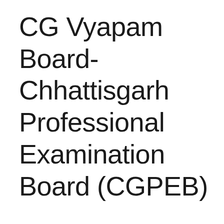CG Vyapam Board- Chhattisgarh Professional Examination Board (CGPEB)